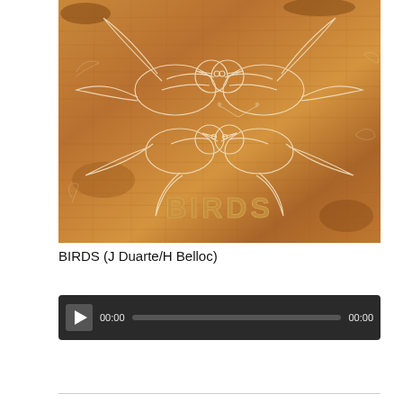[Figure (illustration): Album art for BIRDS by J Duarte/H Belloc. A warm brown wooden textured background with white etched illustrations of two mirrored pairs of birds facing each other in a symmetrical composition, with the word 'BIRDS' in stylized lettering at the bottom.]
BIRDS (J Duarte/H Belloc)
[Figure (other): Audio player with dark background, play button on left, elapsed time showing 00:00, progress bar in center, and total time showing 00:00 on the right.]